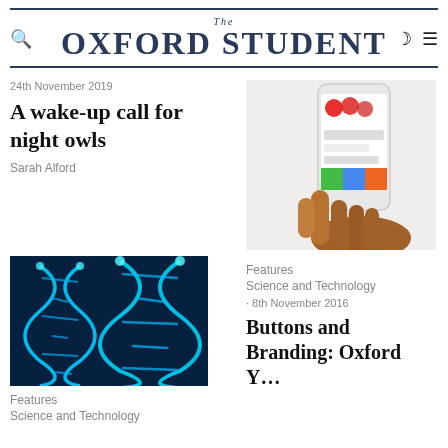The Oxford Student
24th November 2019
A wake-up call for night owls
Sarah Alford
[Figure (photo): Hand holding a smartphone displaying a colourful app interface]
[Figure (photo): Blue glowing DNA double helix strands on dark background]
Features
Science and Technology
Features
Science and Technology
· 8th November 2016
Buttons and Branding: Oxford Y...